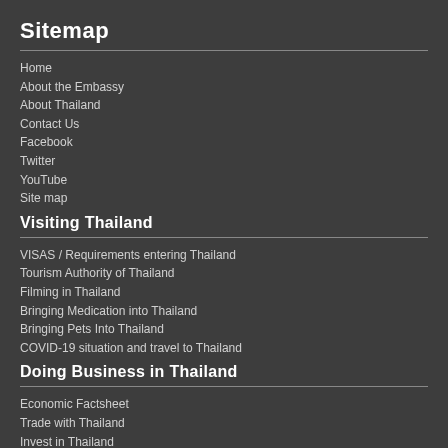Sitemap
Home
About the Embassy
About Thailand
Contact Us
Facebook
Twitter
YouTube
Site map
Visiting Thailand
VISAS / Requirements entering Thailand
Tourism Authority of Thailand
Filming in Thailand
Bringing Medication into Thailand
Bringing Pets Into Thailand
COVID-19 situation and travel to Thailand
Doing Business in Thailand
Economic Factsheet
Trade with Thailand
Invest in Thailand
Thai Industries
Thailand / U.S. Relations